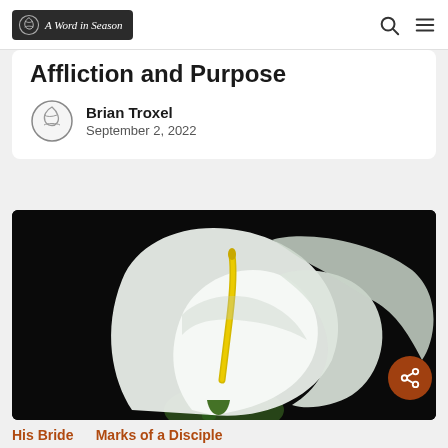A Word in Season
Affliction and Purpose
Brian Troxel
September 2, 2022
[Figure (photo): Close-up photograph of a white calla lily with a yellow spadix against a dark background]
His Bride   Marks of a Disciple